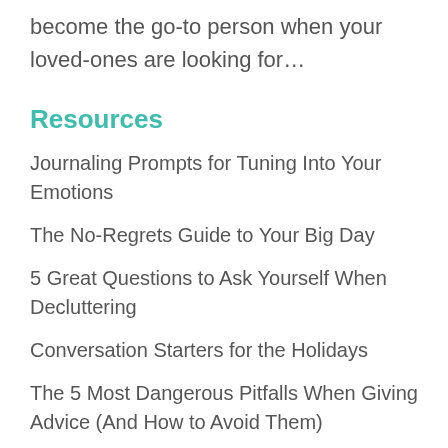become the go-to person when your loved-ones are looking for…
Resources
Journaling Prompts for Tuning Into Your Emotions
The No-Regrets Guide to Your Big Day
5 Great Questions to Ask Yourself When Decluttering
Conversation Starters for the Holidays
The 5 Most Dangerous Pitfalls When Giving Advice (And How to Avoid Them)